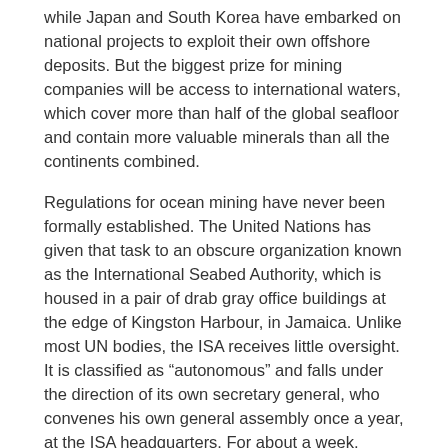while Japan and South Korea have embarked on national projects to exploit their own offshore deposits. But the biggest prize for mining companies will be access to international waters, which cover more than half of the global seafloor and contain more valuable minerals than all the continents combined.
Regulations for ocean mining have never been formally established. The United Nations has given that task to an obscure organization known as the International Seabed Authority, which is housed in a pair of drab gray office buildings at the edge of Kingston Harbour, in Jamaica. Unlike most UN bodies, the ISA receives little oversight. It is classified as “autonomous” and falls under the direction of its own secretary general, who convenes his own general assembly once a year, at the ISA headquarters. For about a week, delegates from 168 member states pour into Kingston from around the world, gathering at a broad semicircle of desks in the auditorium of the Jamaica Conference Centre. Their assignment is not to prevent mining on the seafloor but to mitigate its damage—selecting locations where extraction will be permitted, issuing licenses to mining companies, and drafting the technical and environmental standards of an underwater Mining Code.
Writing the code has been difficult. ISA members have struggled to